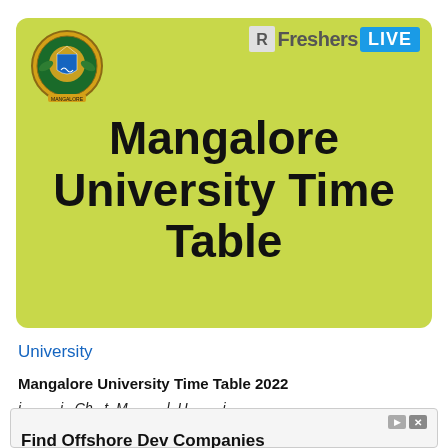[Figure (logo): FreshersLIVE logo with icon, 'Freshers' in gray and 'LIVE' on blue background]
[Figure (illustration): Mangalore University circular crest/seal with colorful emblem]
Mangalore University Time Table
University
Mangalore University Time Table 2022
Find Offshore Dev Companies
Find The Best Offshore Dev Companies Results From Top Web Search Engines
Offshore Dev Companies
Open